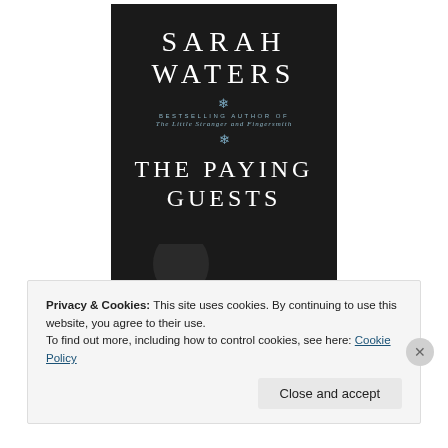[Figure (illustration): Book cover of 'The Paying Guests' by Sarah Waters. Dark/black background with white serif text showing author name 'SARAH WATERS', subtitle 'BESTSELLING AUTHOR OF The Little Stranger and Fingersmith', decorative snowflake ornaments, and title 'THE PAYING GUESTS'. Bottom portion shows a black-and-white photo of a person's bare back/shoulders.]
Privacy & Cookies: This site uses cookies. By continuing to use this website, you agree to their use.
To find out more, including how to control cookies, see here: Cookie Policy
Close and accept